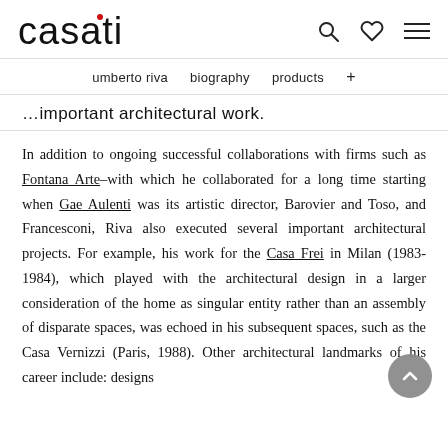casati
umberto riva   biography   products   +
…important architectural work.
In addition to ongoing successful collaborations with firms such as Fontana Arte–with which he collaborated for a long time starting when Gae Aulenti was its artistic director, Barovier and Toso, and Francesconi, Riva also executed several important architectural projects. For example, his work for the Casa Frei in Milan (1983-1984), which played with the architectural design in a larger consideration of the home as singular entity rather than an assembly of disparate spaces, was echoed in his subsequent spaces, such as the Casa Vernizzi (Paris, 1988). Other architectural landmarks of his career include: designs